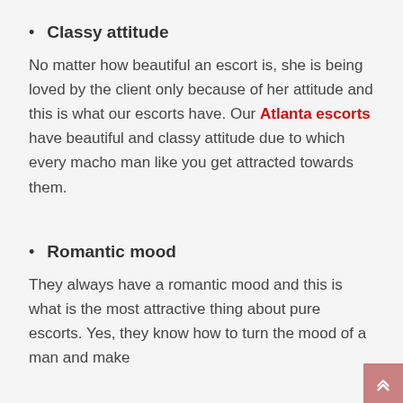Classy attitude
No matter how beautiful an escort is, she is being loved by the client only because of her attitude and this is what our escorts have. Our Atlanta escorts have beautiful and classy attitude due to which every macho man like you get attracted towards them.
Romantic mood
They always have a romantic mood and this is what is the most attractive thing about pure escorts. Yes, they know how to turn the mood of a man and make